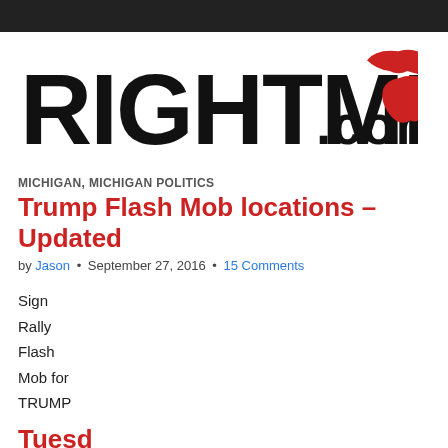[Figure (logo): RightMI.com logo with bold black text and red Michigan state outline silhouette]
MICHIGAN, MICHIGAN POLITICS
Trump Flash Mob locations – Updated
by Jason • September 27, 2016 • 15 Comments
Sign
Rally
Flash
Mob for
TRUMP
Tuesd